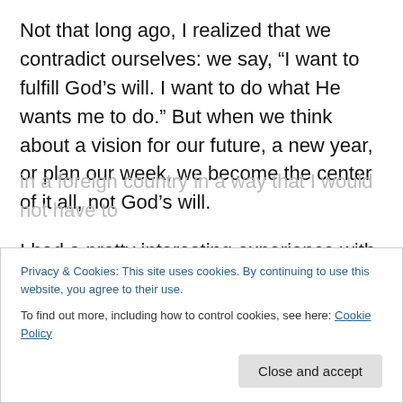Not that long ago, I realized that we contradict ourselves: we say, “I want to fulfill God’s will. I want to do what He wants me to do.” But when we think about a vision for our future, a new year, or plan our week, we become the center of it all, not God’s will.
I had a pretty interesting experience with this seven years ago and a fantastic testimony. For many years I have lived in faith. I would say, “Lord, may Your will be done in my life!” but then, when I planned my life, my goals were all about me. My comfort, my ambitions of what I wanted to
in a foreign country in a way that I would not have to
Privacy & Cookies: This site uses cookies. By continuing to use this website, you agree to their use.
To find out more, including how to control cookies, see here: Cookie Policy
Close and accept